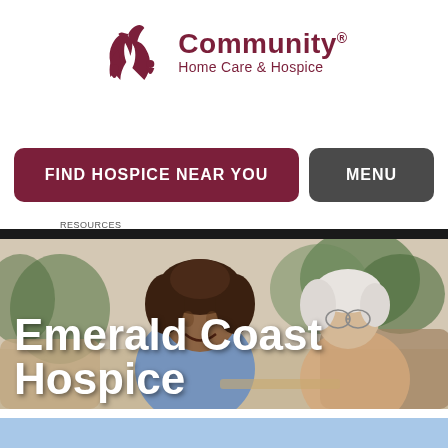[Figure (logo): Community Home Care & Hospice logo with decorative KG monogram in dark red/maroon color]
FIND HOSPICE NEAR YOU
MENU
RESOURCES
[Figure (photo): A smiling Black woman with curly hair sitting across from an elderly white-haired woman, with green plants in background — hospice/home care scene]
Emerald Coast Hospice